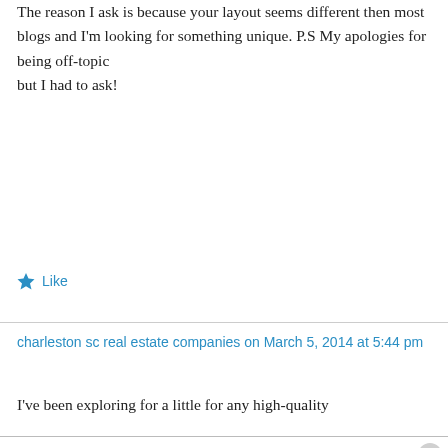The reason I ask is because your layout seems different then most blogs and I'm looking for something unique. P.S My apologies for being off-topic but I had to ask!
★ Like
charleston sc real estate companies on March 5, 2014 at 5:44 pm
I've been exploring for a little for any high-quality
Privacy & Cookies: This site uses cookies. By continuing to use this website, you agree to their use. To find out more, including how to control cookies, see here: Cookie Policy
Close and accept